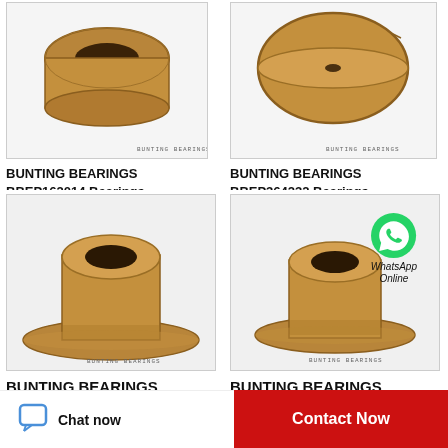[Figure (photo): Bronze flanged bushing bearing product image with BUNTING BEARINGS watermark, top-left cell]
BUNTING BEARINGS BBEP162014 Bearings
[Figure (photo): Bronze disc/washer bearing product image with BUNTING BEARINGS watermark, top-right cell]
BUNTING BEARINGS BBEP364232 Bearings
[Figure (photo): Bronze flanged bushing bearing product image with BUNTING BEARINGS watermark, bottom-left cell]
BUNTING BEARINGS
[Figure (photo): Bronze flanged bushing bearing product image with WhatsApp Online overlay and BUNTING BEARINGS watermark, bottom-right cell]
BUNTING BEARINGS
Chat now
Contact Now